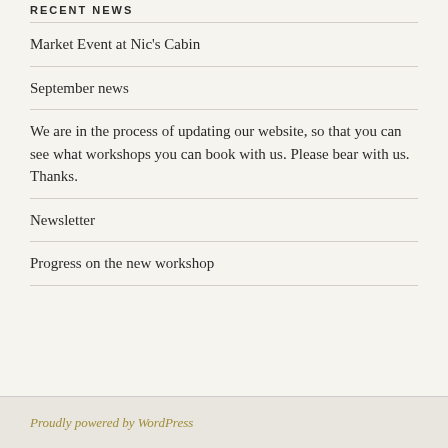RECENT NEWS
Market Event at Nic's Cabin
September news
We are in the process of updating our website, so that you can see what workshops you can book with us. Please bear with us. Thanks.
Newsletter
Progress on the new workshop
Proudly powered by WordPress